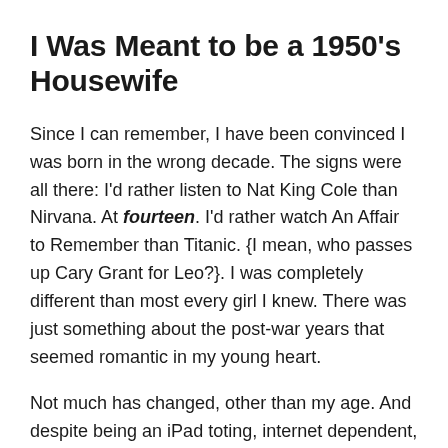I Was Meant to be a 1950's Housewife
Since I can remember, I have been convinced I was born in the wrong decade. The signs were all there: I'd rather listen to Nat King Cole than Nirvana. At fourteen. I'd rather watch An Affair to Remember than Titanic. {I mean, who passes up Cary Grant for Leo?}. I was completely different than most every girl I knew. There was just something about the post-war years that seemed romantic in my young heart.
Not much has changed, other than my age. And despite being an iPad toting, internet dependent, Generation Y'er, I secretly yearn for days of old. So naturally, when my friend let me use her “family” cookbook, I fell in love.